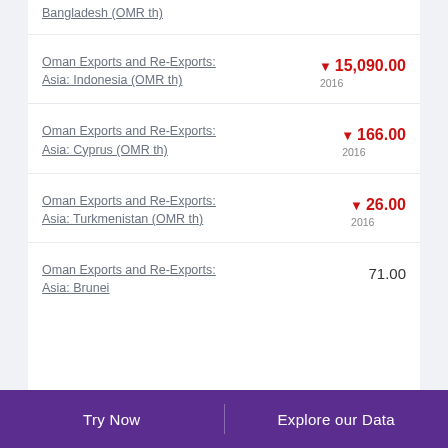Bangladesh (OMR th)
Oman Exports and Re-Exports: Asia: Indonesia (OMR th) ▼ 15,090.00 2016
Oman Exports and Re-Exports: Asia: Cyprus (OMR th) ▼ 166.00 2016
Oman Exports and Re-Exports: Asia: Turkmenistan (OMR th) ▼ 26.00 2016
Oman Exports and Re-Exports: Asia: Brunei 71.00
Try Now   Explore our Data